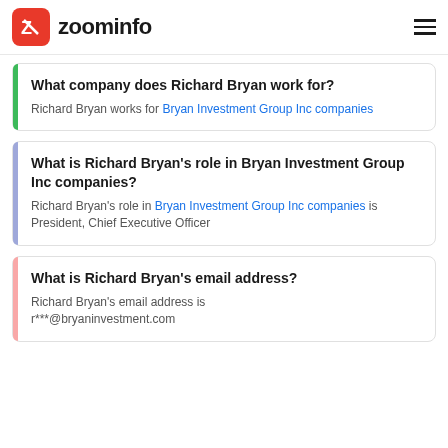zoominfo
What company does Richard Bryan work for?
Richard Bryan works for Bryan Investment Group Inc companies
What is Richard Bryan's role in Bryan Investment Group Inc companies?
Richard Bryan's role in Bryan Investment Group Inc companies is President, Chief Executive Officer
What is Richard Bryan's email address?
Richard Bryan's email address is r***@bryaninvestment.com